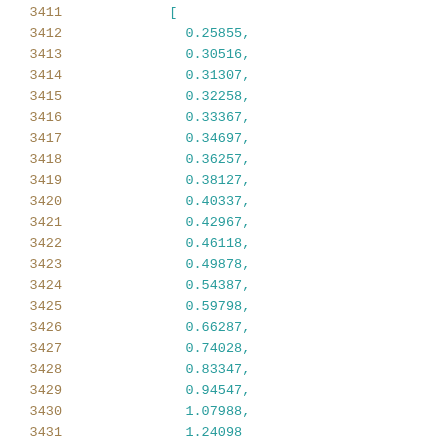3411    [
3412    0.25855,
3413    0.30516,
3414    0.31307,
3415    0.32258,
3416    0.33367,
3417    0.34697,
3418    0.36257,
3419    0.38127,
3420    0.40337,
3421    0.42967,
3422    0.46118,
3423    0.49878,
3424    0.54387,
3425    0.59798,
3426    0.66287,
3427    0.74028,
3428    0.83347,
3429    0.94547,
3430    1.07988,
3431    1.24098
3432    ]